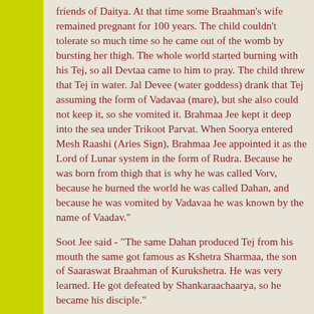friends of Daitya. At that time some Braahman's wife remained pregnant for 100 years. The child couldn't tolerate so much time so he came out of the womb by bursting her thigh. The whole world started burning with his Tej, so all Devtaa came to him to pray. The child threw that Tej in water. Jal Devee (water goddess) drank that Tej assuming the form of Vadavaa (mare), but she also could not keep it, so she vomited it. Brahmaa Jee kept it deep into the sea under Trikoot Parvat. When Soorya entered Mesh Raashi (Aries Sign), Brahmaa Jee appointed it as the Lord of Lunar system in the form of Rudra. Because he was born from thigh that is why he was called Vorv, because he burned the world he was called Dahan, and because he was vomited by Vadavaa he was known by the name of Vaadav."
Soot Jee said - "The same Dahan produced Tej from his mouth the same got famous as Kshetra Sharmaa, the son of Saaraswat Braahman of Kurukshetra. He was very learned. He got defeated by Shankaraachaarya, so he became his disciple."